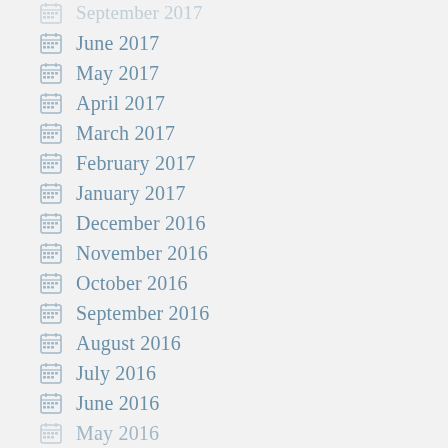September 2017
June 2017
May 2017
April 2017
March 2017
February 2017
January 2017
December 2016
November 2016
October 2016
September 2016
August 2016
July 2016
June 2016
May 2016